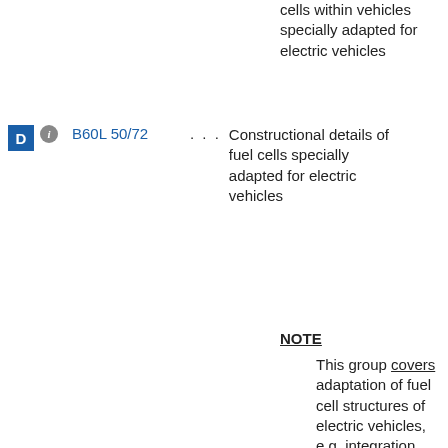cells within vehicles specially adapted for electric vehicles
B60L 50/72 . . . Constructional details of fuel cells specially adapted for electric vehicles
NOTE
This group covers adaptation of fuel cell structures of electric vehicles, e.g. integration into control or safety systems, crash-resistant casings or vibration-damping means.